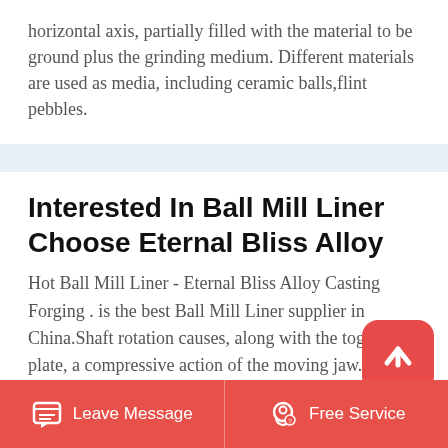horizontal axis, partially filled with the material to be ground plus the grinding medium. Different materials are used as media, including ceramic balls,flint pebbles.
Interested In Ball Mill Liner Choose Eternal Bliss Alloy
Hot Ball Mill Liner - Eternal Bliss Alloy Casting Forging . is the best Ball Mill Liner supplier in China.Shaft rotation causes, along with the toggle plate, a compressive action of the moving jaw. A double toggle crusher has, basically, two shafts and two toggle plates. This is generally followed by a cone crusher. A combination of rod mill and ball
Leave Message   Free Service